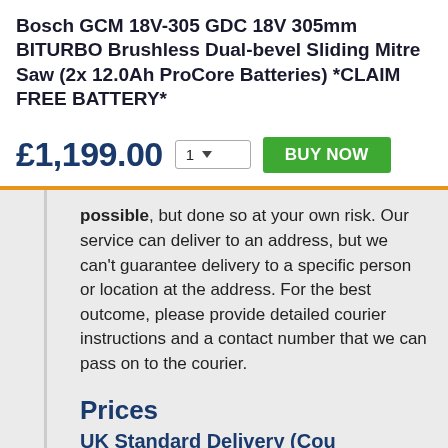Bosch GCM 18V-305 GDC 18V 305mm BITURBO Brushless Dual-bevel Sliding Mitre Saw (2x 12.0Ah ProCore Batteries) *CLAIM FREE BATTERY*
£1,199.00  [qty: 1]  BUY NOW
possible, but done so at your own risk. Our service can deliver to an address, but we can't guarantee delivery to a specific person or location at the address. For the best outcome, please provide detailed courier instructions and a contact number that we can pass on to the courier.
Prices
UK Standard Delivery (Cou...